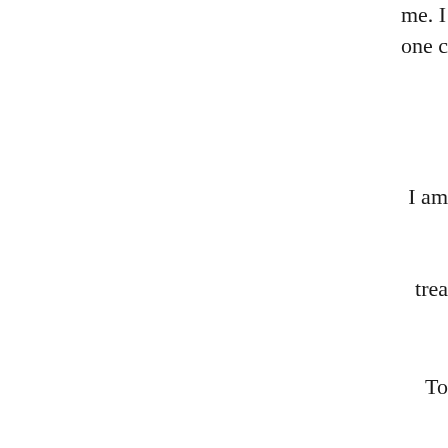me. I one c
I am
trea
To
I cert whe Secon with of th bag s